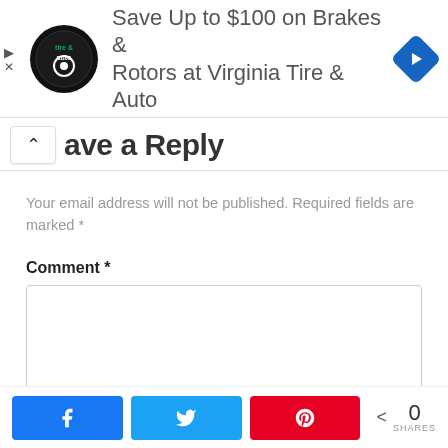[Figure (screenshot): Advertisement banner: Virginia Tire & Auto logo (circular black badge), text 'Save Up to $100 on Brakes & Rotors at Virginia Tire & Auto', blue diamond navigation arrow icon. Small play and X icons on the left edge.]
ave a Reply
Your email address will not be published. Required fields are marked *
Comment *
[Figure (screenshot): Empty comment text area input box with a scrollbar on the right side]
[Figure (screenshot): Social share bar with Facebook (blue), Twitter (cyan), Pinterest (red) buttons and a share count showing 0 SHARES]